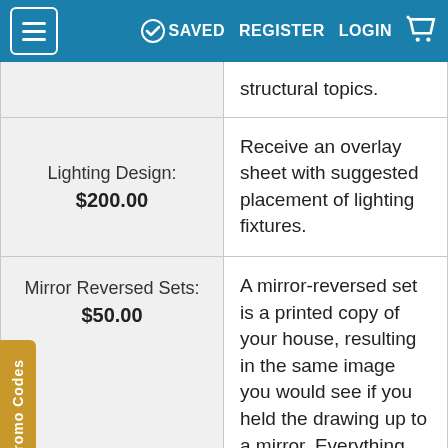SAVED  REGISTER  LOGIN
| Item | Description |
| --- | --- |
| structural topics. | (truncated row top) |
| Lighting Design: $200.00 | Receive an overlay sheet with suggested placement of lighting fixtures. |
| Mirror Reversed Sets: $50.00 | A mirror-reversed set is a printed copy of your house, resulting in the same image you would see if you held the drawing up to a mirror. Everything, including the text, is backward in relation to the original design. These kinds of drawing are typically |